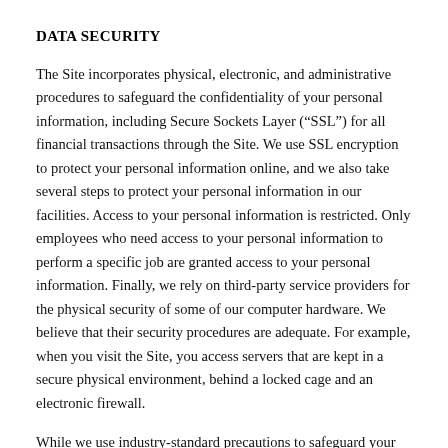DATA SECURITY
The Site incorporates physical, electronic, and administrative procedures to safeguard the confidentiality of your personal information, including Secure Sockets Layer ("SSL") for all financial transactions through the Site. We use SSL encryption to protect your personal information online, and we also take several steps to protect your personal information in our facilities. Access to your personal information is restricted. Only employees who need access to your personal information to perform a specific job are granted access to your personal information. Finally, we rely on third-party service providers for the physical security of some of our computer hardware. We believe that their security procedures are adequate. For example, when you visit the Site, you access servers that are kept in a secure physical environment, behind a locked cage and an electronic firewall.
While we use industry-standard precautions to safeguard your